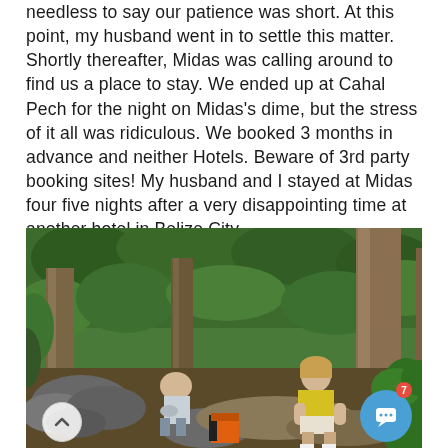needless to say our patience was short. At this point, my husband went in to settle this matter. Shortly thereafter, Midas was calling around to find us a place to stay. We ended up at Cahal Pech for the night on Midas's dime, but the stress of it all was ridiculous. We booked 3 months in advance and neither Hotels. Beware of 3rd party booking sites! My husband and I stayed at Midas four five nights after a very disappointing time at another hotel in Belize City.
[Figure (photo): Two people resting on rocks in a lush tropical jungle/forest setting with large trees and dense green foliage. One person in a yellow top is leaning forward with hands on knees, another person is crouched near an orange and black backpack on the ground.]